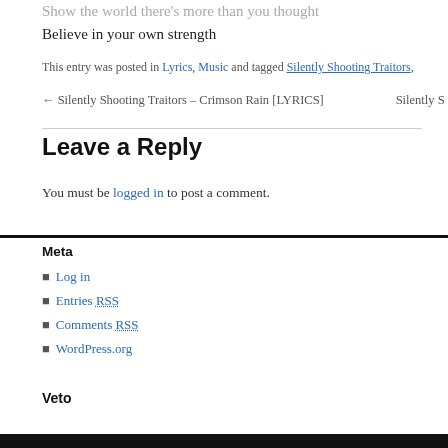Show the world there's more than you thought
Believe in your own strength
This entry was posted in Lyrics, Music and tagged Silently Shooting Traitors,
← Silently Shooting Traitors – Crimson Rain [LYRICS]   Silently S
Leave a Reply
You must be logged in to post a comment.
Meta
Log in
Entries RSS
Comments RSS
WordPress.org
Veto